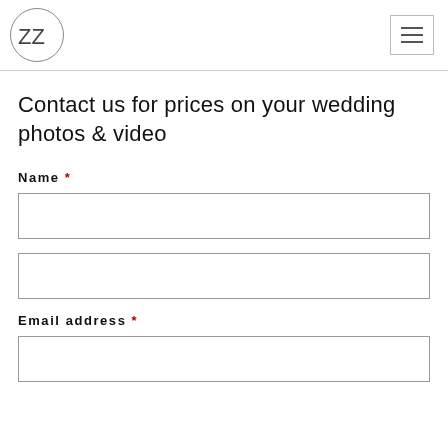[Figure (logo): ZZ logo in a circle]
Contact us for prices on your wedding photos & video
Name *
Email address *